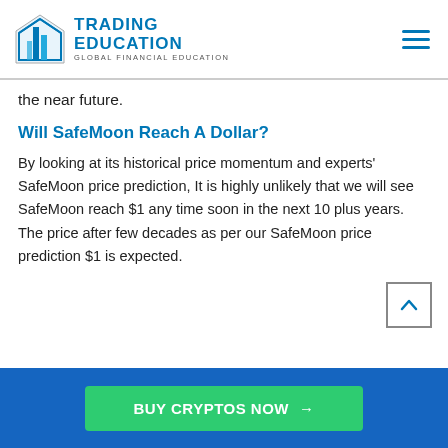TRADING EDUCATION — GLOBAL FINANCIAL EDUCATION
the near future.
Will SafeMoon Reach A Dollar?
By looking at its historical price momentum and experts' SafeMoon price prediction, It is highly unlikely that we will see SafeMoon reach $1 any time soon in the next 10 plus years. The price after few decades as per our SafeMoon price prediction $1 is expected.